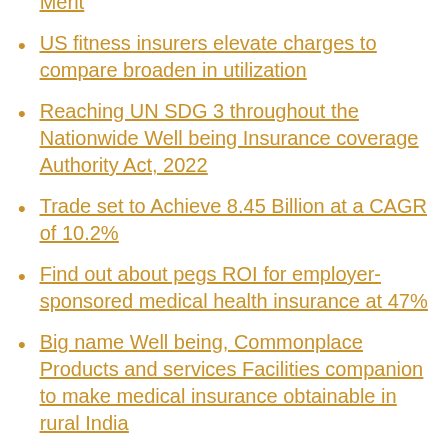NYC's plan to change retirees to Medicare Merit
US fitness insurers elevate charges to compare broaden in utilization
Reaching UN SDG 3 throughout the Nationwide Well being Insurance coverage Authority Act, 2022
Trade set to Achieve 8.45 Billion at a CAGR of 10.2%
Find out about pegs ROI for employer-sponsored medical health insurance at 47%
Big name Well being, Commonplace Products and services Facilities companion to make medical insurance obtainable in rural India
When is an abortion coated by way of